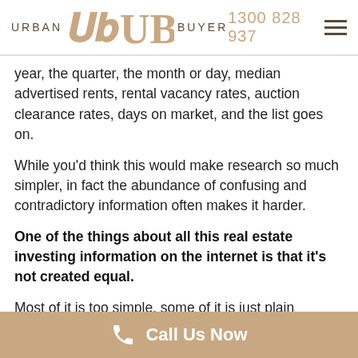URBAN BUYER | 1300 828 937
year, the quarter, the month or day, median advertised rents, rental vacancy rates, auction clearance rates, days on market, and the list goes on.
While you'd think this would make research so much simpler, in fact the abundance of confusing and contradictory information often makes it harder.
One of the things about all this real estate investing information on the internet is that it's not created equal.
Most of it is too simple, some of it is just plain
Call Us Now